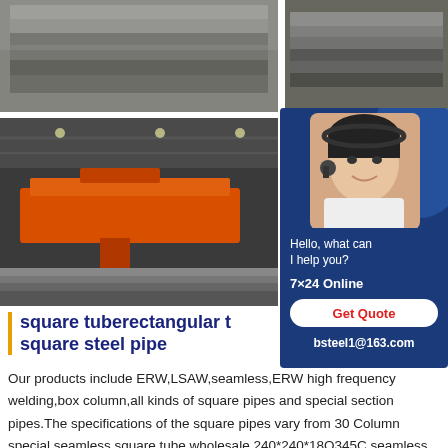[Figure (photo): Top-left: stacked steel plates, grey industrial setting]
[Figure (photo): Top-right: stacked steel plates outdoors]
[Figure (photo): Bottom-left: industrial CNC cutting machine in factory, orange machine]
[Figure (photo): Blue sidebar with customer service representative wearing headset, 7x24 online support, Get Quote button, bsteel1@163.com]
square tuberectangular t square steel pipe
Our products include ERW,LSAW,seamless,ERW high frequency welding,box column,all kinds of square pipes and special section pipes.The specifications of the square pipes vary from 30 Column special seamless square tube wholesale 240*240*18Q345C seamless squa#215;30mm800 Column special seamless square